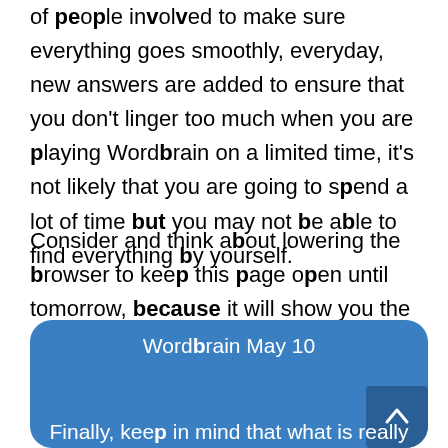of people involved to make sure everything goes smoothly, everyday, new answers are added to ensure that you don't linger too much when you are playing Wordbrain on a limited time, it's not likely that you are going to spend a lot of time but you may not be able to find everything by yourself.
Consider and think about lowering the browser to keep this page open until tomorrow, because it will show you the answers of the next grid below :
[Figure (screenshot): Blue rounded card with title 'Wordbrain May 10' and partial footer text 'Finally, keep in mind that what is really', with a scroll-to-top button in lower right corner]